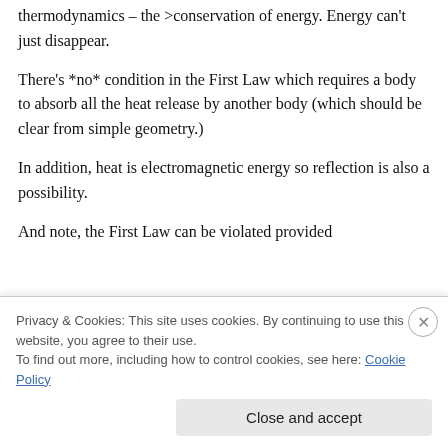This is just a consequence of the first law of thermodynamics – the >conservation of energy. Energy can't just disappear.
There's *no* condition in the First Law which requires a body to absorb all the heat release by another body (which should be clear from simple geometry.)
In addition, heat is electromagnetic energy so reflection is also a possibility.
And note, the First Law can be violated provided
Privacy & Cookies: This site uses cookies. By continuing to use this website, you agree to their use.
To find out more, including how to control cookies, see here: Cookie Policy